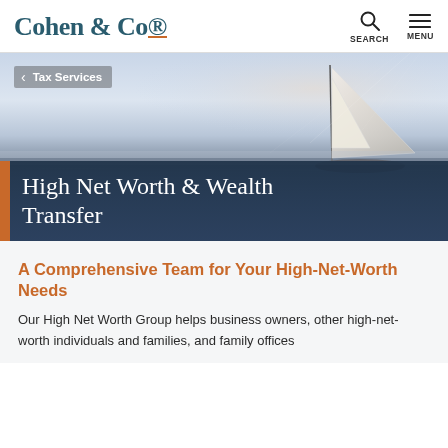Cohen & Co | SEARCH | MENU
[Figure (photo): Sailboat on open water at dusk with mist; hero image for High Net Worth & Wealth Transfer service page]
< Tax Services
High Net Worth & Wealth Transfer
A Comprehensive Team for Your High-Net-Worth Needs
Our High Net Worth Group helps business owners, other high-net-worth individuals and families, and family offices